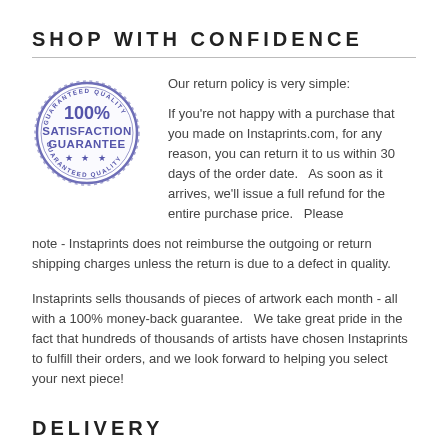SHOP WITH CONFIDENCE
[Figure (illustration): A circular stamp reading '100% SATISFACTION GUARANTEE' with 'GUARANTEED QUALITY' text around the border and three stars at the bottom, in blue ink style.]
Our return policy is very simple:

If you're not happy with a purchase that you made on Instaprints.com, for any reason, you can return it to us within 30 days of the order date.   As soon as it arrives, we'll issue a full refund for the entire purchase price.   Please note - Instaprints does not reimburse the outgoing or return shipping charges unless the return is due to a defect in quality.
Instaprints sells thousands of pieces of artwork each month - all with a 100% money-back guarantee.   We take great pride in the fact that hundreds of thousands of artists have chosen Instaprints to fulfill their orders, and we look forward to helping you select your next piece!
DELIVERY